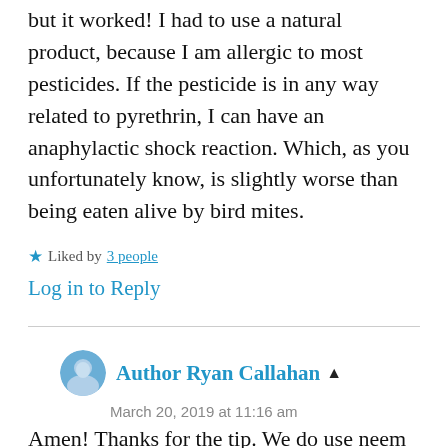but it worked! I had to use a natural product, because I am allergic to most pesticides. If the pesticide is in any way related to pyrethrin, I can have an anaphylactic shock reaction. Which, as you unfortunately know, is slightly worse than being eaten alive by bird mites.
★ Liked by 3 people
Log in to Reply
Author Ryan Callahan ▲
March 20, 2019 at 11:16 am
Amen! Thanks for the tip. We do use neem oil on the trees sometimes. Yes, anaphylaxis was the most painful thing I have ever been